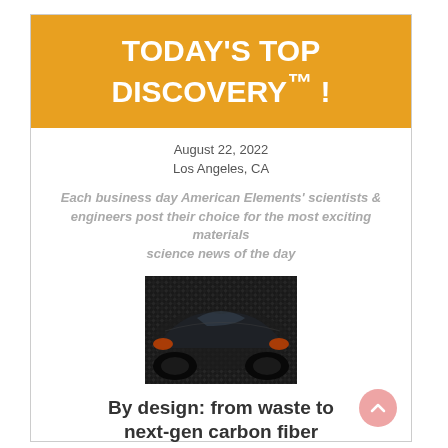TODAY'S TOP DISCOVERY™ !
August 22, 2022
Los Angeles, CA
Each business day American Elements' scientists & engineers post their choice for the most exciting materials science news of the day
[Figure (photo): Close-up photograph of a dark carbon fiber sports car body panel showing textured weave pattern with tires and headlights visible]
By design: from waste to next-gen carbon fiber
Click here to see the primary source for this post